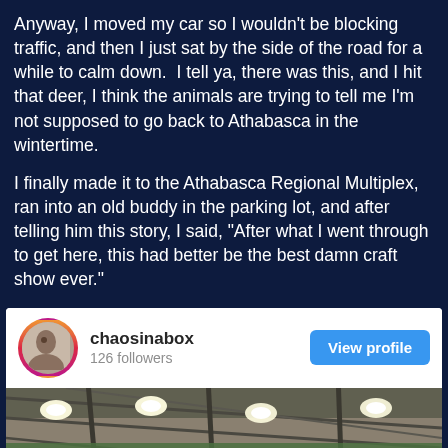Anyway, I moved my car so I wouldn't be blocking traffic, and then I just sat by the side of the road for a while to calm down.  I tell ya, there was this, and I hit that deer, I think the animals are trying to tell me I'm not supposed to go back to Athabasca in the wintertime.
I finally made it to the Athabasca Regional Multiplex, ran into an old buddy in the parking lot, and after telling him this story, I said, "After what I went through to get here, this had better be the best damn craft show ever."
[Figure (screenshot): Instagram profile card for 'chaosinabox' with 126 followers and a View profile button, followed by a photo of the interior ceiling of a large building (Athabasca Regional Multiplex) showing industrial lighting, green netting, and metal roof structure.]